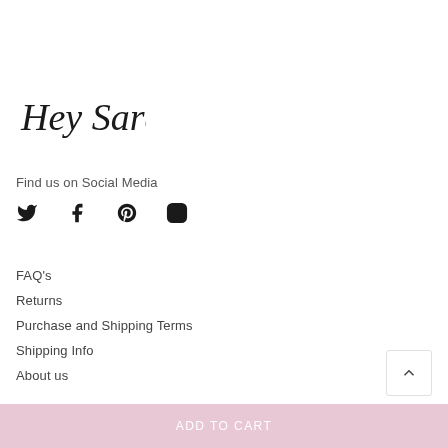[Figure (logo): Hey Sara cursive/handwritten logo in black]
Find us on Social Media
[Figure (infographic): Social media icons: Twitter, Facebook, Pinterest, Instagram]
FAQ's
Returns
Purchase and Shipping Terms
Shipping Info
About us
ADD TO CART